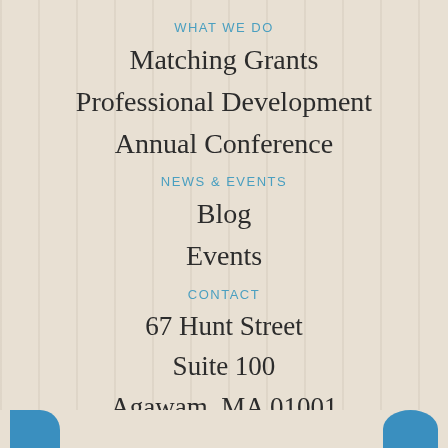WHAT WE DO
Matching Grants
Professional Development
Annual Conference
NEWS & EVENTS
Blog
Events
CONTACT
67 Hunt Street
Suite 100
Agawam, MA 01001
(413) 276-0710